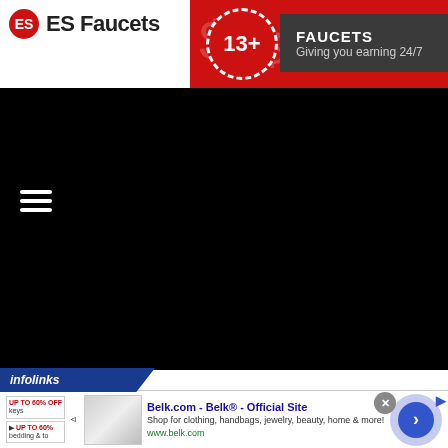ES Faucets
13+
FAUCETS
Giving you earning 24/7
[Figure (screenshot): Black main content area with hamburger menu icon (three horizontal white lines) in top-left]
infolinks
[Figure (screenshot): Advertisement banner: Belk.com - Belk® - Official Site. Shop for clothing, handbags, jewelry, beauty, home & more! www.belk.com. With navigation arrow button on the right.]